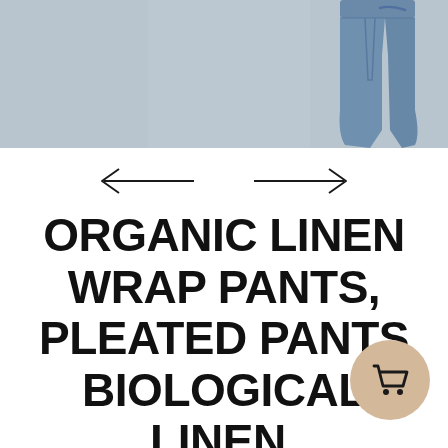[Figure (photo): Product photo of blue/grey linen wrap pants on a grey background, showing the lower portion of the garment with the pants legs visible.]
[Figure (other): Navigation arrows: left arrow on the left side and right arrow on the right side for image carousel navigation.]
ORGANIC LINEN WRAP PANTS, PLEATED PANTS BIOLOGICAL LINEN, RECYCLABLE, READY FOR RECYCLING, FAIR FASHION, FAIR
[Figure (other): Circular beige/tan shopping cart button with a cart icon in dark color.]